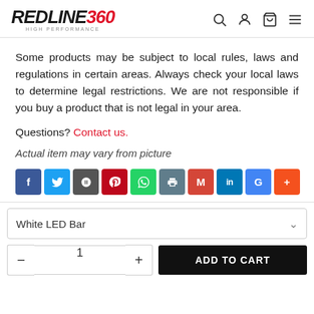REDLINE360 HIGH PERFORMANCE — navigation icons (search, user, cart, menu)
Some products may be subject to local rules, laws and regulations in certain areas. Always check your local laws to determine legal restrictions. We are not responsible if you buy a product that is not legal in your area.
Questions? Contact us.
Actual item may vary from picture
[Figure (infographic): Social share buttons: Facebook, Twitter, Google (dark), Pinterest, WhatsApp, Print, Gmail, LinkedIn, Google+, More]
White LED Bar (dropdown selector)
Quantity: 1 — ADD TO CART button